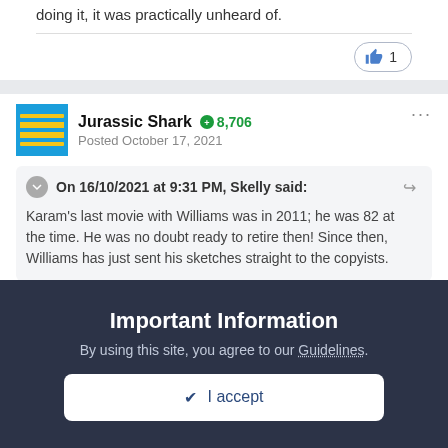doing it, it was practically unheard of.
👍 1
Jurassic Shark  ⊕ 8,706
Posted October 17, 2021
On 16/10/2021 at 9:31 PM, Skelly said:
Karam's last movie with Williams was in 2011; he was 82 at the time. He was no doubt ready to retire then! Since then, Williams has just sent his sketches straight to the copyists.
Important Information
By using this site, you agree to our Guidelines.
✔ I accept